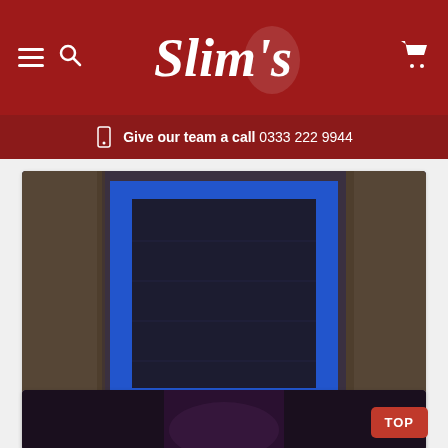Slim's — Give our team a call 0333 222 9944
[Figure (photo): Product photo of CARPRO Polyshave Decontamination Clay Towel – dark navy/black towel with blue trim edges, displayed on a wooden surface]
£20.40 (Inc VAT)
£17.00 (Ex VAT)
CARPRO Polyshave Decontamination Clay Towel
[Figure (photo): Partial product image at bottom of page, dark background]
TOP